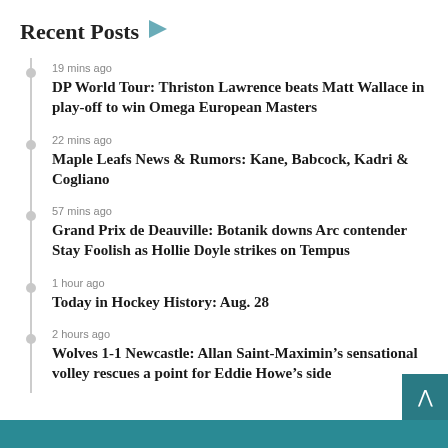Recent Posts
19 mins ago
DP World Tour: Thriston Lawrence beats Matt Wallace in play-off to win Omega European Masters
22 mins ago
Maple Leafs News & Rumors: Kane, Babcock, Kadri & Cogliano
57 mins ago
Grand Prix de Deauville: Botanik downs Arc contender Stay Foolish as Hollie Doyle strikes on Tempus
1 hour ago
Today in Hockey History: Aug. 28
2 hours ago
Wolves 1-1 Newcastle: Allan Saint-Maximin’s sensational volley rescues a point for Eddie Howe’s side